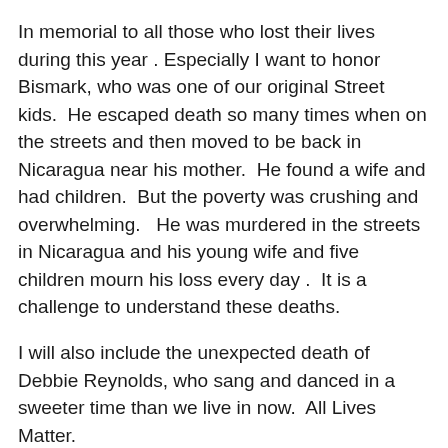In memorial to all those who lost their lives during this year . Especially I want to honor Bismark, who was one of our original Street kids.  He escaped death so many times when on the streets and then moved to be back in Nicaragua near his mother.  He found a wife and had children.  But the poverty was crushing and overwhelming.   He was murdered in the streets in Nicaragua and his young wife and five children mourn his loss every day .  It is a challenge to understand these deaths.
I will also include the unexpected death of Debbie Reynolds, who sang and danced in a sweeter time than we live in now.  All Lives Matter.
A Final  Final Note
The other night I watched the CNN heroes award program..  I felt such an affinity with those folks and I know what they go